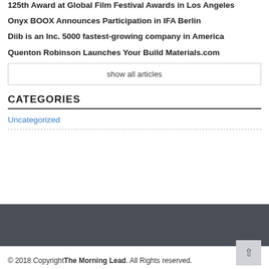125th Award at Global Film Festival Awards in Los Angeles
Onyx BOOX Announces Participation in IFA Berlin
Diib is an Inc. 5000 fastest-growing company in America
Quenton Robinson Launches Your Build Materials.com
show all articles
CATEGORIES
Uncategorized
© 2018 Copyright The Morning Lead. All Rights reserved.